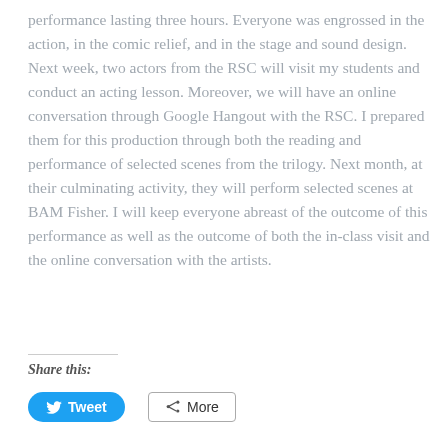performance lasting three hours. Everyone was engrossed in the action, in the comic relief, and in the stage and sound design. Next week, two actors from the RSC will visit my students and conduct an acting lesson. Moreover, we will have an online conversation through Google Hangout with the RSC. I prepared them for this production through both the reading and performance of selected scenes from the trilogy. Next month, at their culminating activity, they will perform selected scenes at BAM Fisher. I will keep everyone abreast of the outcome of this performance as well as the outcome of both the in-class visit and the online conversation with the artists.
Share this:
Tweet | More